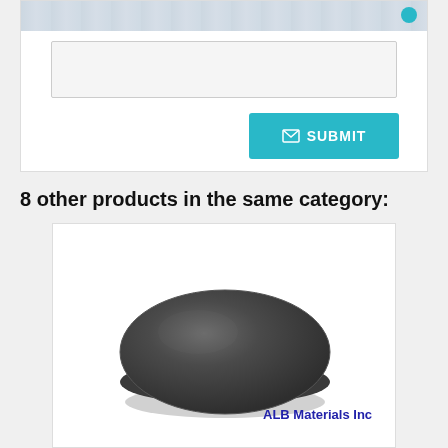[Figure (screenshot): Top portion of a web form with an input text box and a teal SUBMIT button with envelope icon]
8 other products in the same category:
[Figure (photo): A dark gray circular disk/puck product photo on white background with ALB Materials Inc branding in blue text at bottom right]